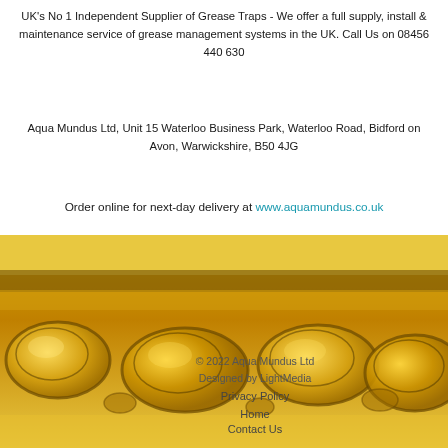UK's No 1 Independent Supplier of Grease Traps - We offer a full supply, install & maintenance service of grease management systems in the UK. Call Us on 08456 440 630
Aqua Mundus Ltd, Unit 15 Waterloo Business Park, Waterloo Road, Bidford on Avon, Warwickshire, B50 4JG
Order online for next-day delivery at www.aquamundus.co.uk
[Figure (photo): Close-up photograph of golden/yellow oil or grease bubbles floating on a liquid surface]
© 2022 Aqua Mundus Ltd
Designed by LightMedia
Privacy Policy
Home
Contact Us
Login
[Figure (logo): Aqua Mundus logo - dark blue stylized W/water drop symbol with text 'Aqua Mundus' below]
[Figure (logo): Facebook social media icon - white f on blue background]
[Figure (logo): Twitter social media icon - white bird on blue background]
[Figure (logo): Email icon - envelope on grey background]